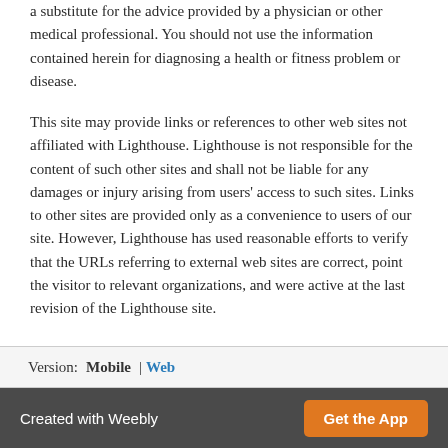a substitute for the advice provided by a physician or other medical professional. You should not use the information contained herein for diagnosing a health or fitness problem or disease.
This site may provide links or references to other web sites not affiliated with Lighthouse. Lighthouse is not responsible for the content of such other sites and shall not be liable for any damages or injury arising from users' access to such sites. Links to other sites are provided only as a convenience to users of our site. However, Lighthouse has used reasonable efforts to verify that the URLs referring to external web sites are correct, point the visitor to relevant organizations, and were active at the last revision of the Lighthouse site.
Version: Mobile | Web
Created with Weebly  Get the App